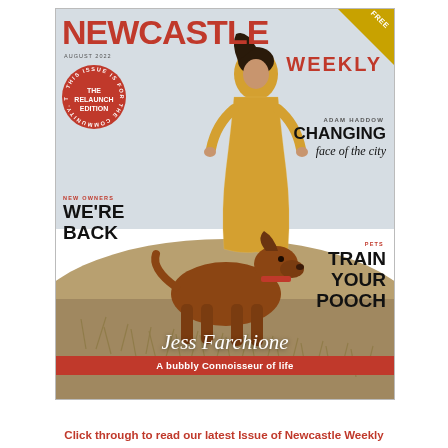[Figure (photo): Magazine cover of Newcastle Weekly, August 2022. A woman in a yellow dress and a large brown dog on sandy dunes. Contains cover lines: 'THE RELAUNCH EDITION', 'CHANGING face of the city' (Adam Haddow), 'WE'RE BACK' (New Owners), 'TRAIN YOUR POOCH' (Pets), and cover story 'Jess Farchione – A bubbly Connoisseur of life'. FREE banner in gold at top-right corner.]
Click through to read our latest Issue of Newcastle Weekly